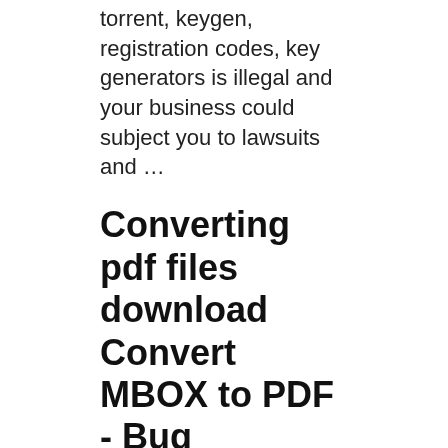torrent, keygen, registration codes, key generators is illegal and your business could subject you to lawsuits and …
Converting pdf files download Convert MBOX to PDF - Bug
[Figure (illustration): Broken image placeholder with alt text: pdf converter to pdf free download]
Converting pdf files download Convert MBOX to PDF - Bug. Convert MBOX to PDF converting pdf files - Download Notice. Using Convert MBOX to PDF Free Download crack, warez, password, serial numbers, torrent, keygen, registration codes, key generators is illegal and your